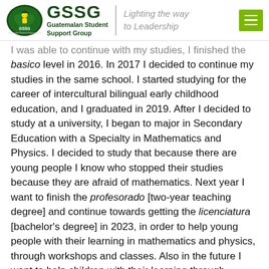[Figure (logo): GSSG Guatemalan Student Support Group logo with tagline 'Lighting the way to Leadership' and hamburger menu icon]
I was able to continue with my studies, I finished the basico level in 2016. In 2017 I decided to continue my studies in the same school. I started studying for the career of intercultural bilingual early childhood education, and I graduated in 2019. After I decided to study at a university, I began to major in Secondary Education with a Specialty in Mathematics and Physics. I decided to study that because there are young people I know who stopped their studies because they are afraid of mathematics. Next year I want to finish the profesorado [two-year teaching degree] and continue towards getting the licenciatura [bachelor's degree] in 2023, in order to help young people with their learning in mathematics and physics, through workshops and classes. Also in the future I want to help children with their learning through classes during their breaks, because many times their teachers do not have the ability to teach them adequately, since they do not